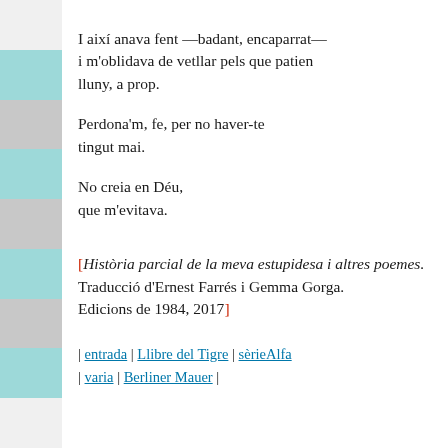I así anava fent —badant, encaparrat—
i m'oblidava de vetllar pels que patien
lluny, a prop.

Perdona'm, fe, per no haver-te tingut mai.

No creia en Déu,
que m'evitava.
[Història parcial de la meva estupidesa i altres poemes. Traducció d'Ernest Farrés i Gemma Gorga. Edicions de 1984, 2017]
| entrada | Llibre del Tigre | sèrieAlfa | varia | Berliner Mauer |